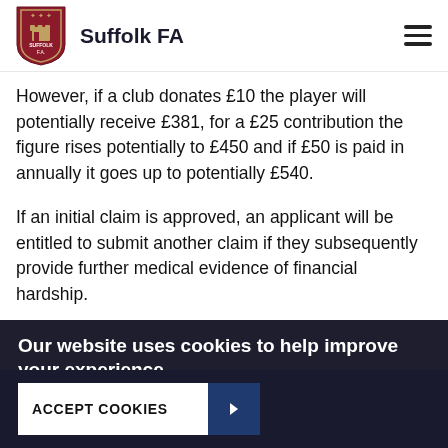Suffolk FA
However, if a club donates £10 the player will potentially receive £381, for a £25 contribution the figure rises potentially to £450 and if £50 is paid in annually it goes up to potentially £540.
If an initial claim is approved, an applicant will be entitled to submit another claim if they subsequently provide further medical evidence of financial hardship.
Our website uses cookies to help improve your experience
A functional cookie (which expires when you close your browser) has already been placed on your machine. More details
ACCEPT COOKIES